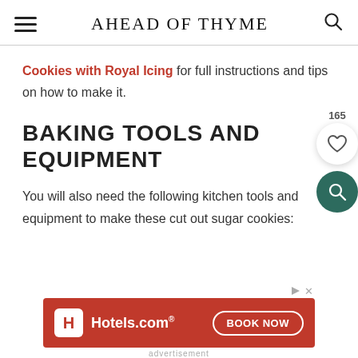AHEAD OF THYME
Cookies with Royal Icing for full instructions and tips on how to make it.
BAKING TOOLS AND EQUIPMENT
You will also need the following kitchen tools and equipment to make these cut out sugar cookies:
[Figure (other): Hotels.com advertisement banner with Book Now button]
advertisement